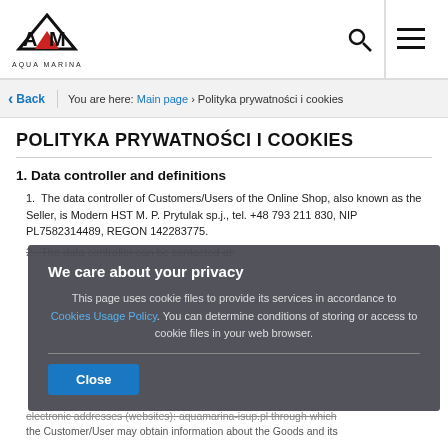AQUA MARINA logo with search and menu icons
Back | You are here: Main page > Polityka prywatności i cookies
POLITYKA PRYWATNOŚCI I COOKIES
1. Data controller and definitions
The data controller of Customers/Users of the Online Shop, also known as the Seller, is Modern HST M. P. Prytulak sp.j., tel. +48 793 211 830, NIP PL7582314489, REGON 142283775.
The data controller can be contacted at:
We care about your privacy
This page uses cookie files to provide its services in accordance to Cookies Usage Policy. You can determine conditions of storing or access to cookie files in your web browser.
Close
electronic addresses (websites): aquamarina-isup.pl through which the Customer/User may obtain information about the Goods and its